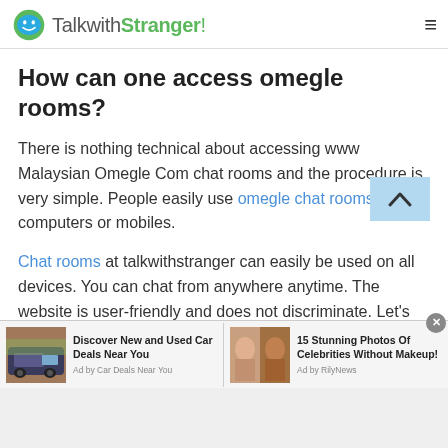TalkwithStranger!
How can one access omegle rooms?
There is nothing technical about accessing www Malaysian Omegle Com chat rooms and the procedure is very simple. People easily use omegle chat rooms on computers or mobiles.
Chat rooms at talkwithstranger can easily be used on all devices. You can chat from anywhere anytime. The website is user-friendly and does not discriminate. Let’s take a look into how one can access omegle chat rooms
[Figure (screenshot): Advertisement bar with two ads: 'Discover New and Used Car Deals Near You' (Ad by Car Deals Near You) and '15 Stunning Photos Of Celebrities Without Makeup!' (Ad by RilyNews). A close button (x) is visible on the right.]